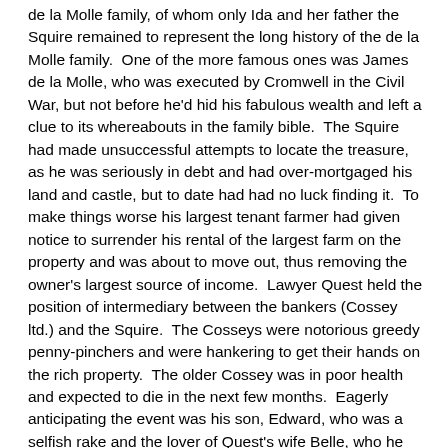de la Molle family, of whom only Ida and her father the Squire remained to represent the long history of the de la Molle family.  One of the more famous ones was James de la Molle, who was executed by Cromwell in the Civil War, but not before he'd hid his fabulous wealth and left a clue to its whereabouts in the family bible.  The Squire had made unsuccessful attempts to locate the treasure, as he was seriously in debt and had over-mortgaged his land and castle, but to date had had no luck finding it.  To make things worse his largest tenant farmer had given notice to surrender his rental of the largest farm on the property and was about to move out, thus removing the owner's largest source of income.  Lawyer Quest held the position of intermediary between the bankers (Cossey ltd.) and the Squire.  The Cosseys were notorious greedy penny-pinchers and were hankering to get their hands on the rich property.  The older Cossey was in poor health and expected to die in the next few months.  Eagerly anticipating the event was his son, Edward, who was a selfish rake and the lover of Quest's wife Belle, who he doesn't really like but who is madly in love with him.  Edward is madly in love with Ida, but she finds him repulsive.  However she agrees to marry him if he will use